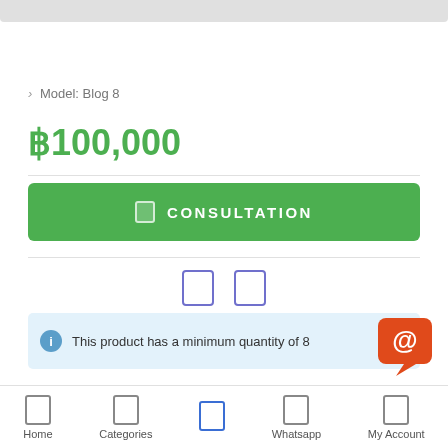Model: Blog 8
฿100,000
CONSULTATION
This product has a minimum quantity of 8
Home  Categories  [icon]  Whatsapp  My Account